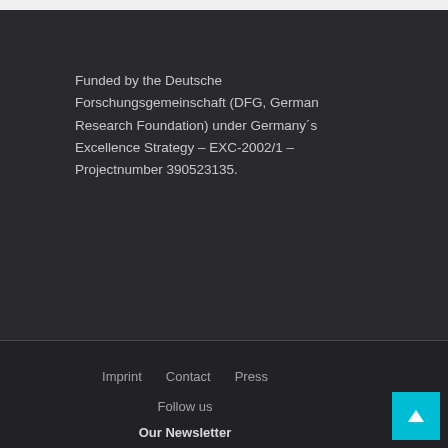Funded by the Deutsche Forschungsgemeinschaft (DFG, German Research Foundation) under Germany´s Excellence Strategy – EXC-2002/1 – Projectnumber 390523135.
Imprint   Contact   Press   Follow us   Our Newsletter